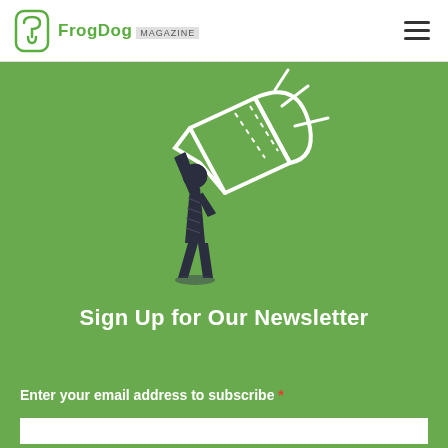FrogDog MAGAZINE
[Figure (illustration): Sketch illustration of a person holding a megaphone/bullhorn, with sound waves radiating from it, drawn in dark ink on green background]
Sign Up for Our Newsletter
Enter your email address to subscribe *